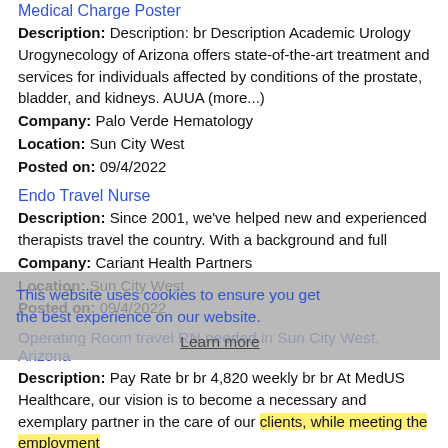Medical Charge Poster
Description: Description: br Description Academic Urology Urogynecology of Arizona offers state-of-the-art treatment and services for individuals affected by conditions of the prostate, bladder, and kidneys. AUUA (more...)
Company: Palo Verde Hematology
Location: Sun City West
Posted on: 09/4/2022
Endo Travel Nurse
Description: Since 2001, we've helped new and experienced therapists travel the country. With a background and full
Company: Cariant Health Partners
Location: Sun City West
Posted on: 09/4/2022
This website uses cookies to ensure you get the best experience on our website. Learn more
Operating Room travel RN needed in Sun City West, Arizona
Description: Pay Rate br br 4,820 weekly br br At MedUS Healthcare, our vision is to become a necessary and exemplary partner in the care of our clients, while meeting the employment
Company: MedUS Healthcare
Location: Sun City West
Posted on: 09/4/2022